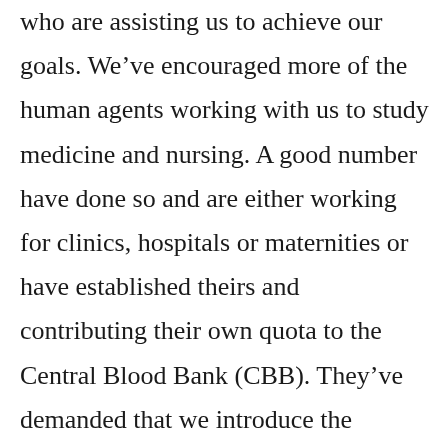who are assisting us to achieve our goals. We've encouraged more of the human agents working with us to study medicine and nursing. A good number have done so and are either working for clinics, hospitals or maternities or have established theirs and contributing their own quota to the Central Blood Bank (CBB). They've demanded that we introduce the incentive of promoting them in rank within the Kingdom as a